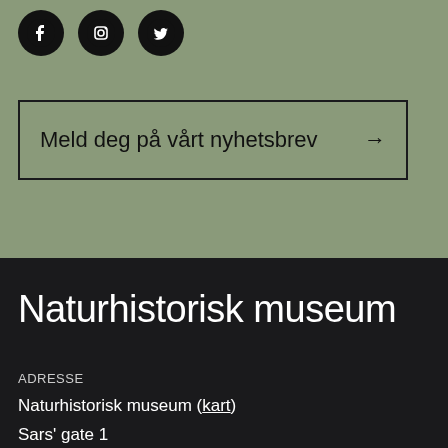[Figure (logo): Three social media icons: Facebook, Instagram, Twitter — black circles with white icons]
Meld deg på vårt nyhetsbrev →
Naturhistorisk museum
ADRESSE
Naturhistorisk museum (kart)
Sars' gate 1